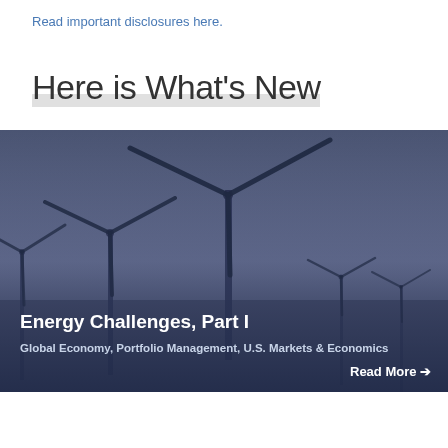Read important disclosures here.
Here is What's New
[Figure (photo): Wind turbines silhouetted against a dark blue-grey sky, overlaid with card text about Energy Challenges, Part I]
Energy Challenges, Part I
Global Economy, Portfolio Management, U.S. Markets & Economics
Read More →